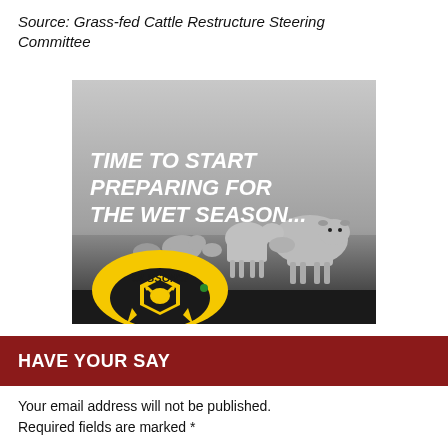Source: Grass-fed Cattle Restructure Steering Committee
[Figure (photo): Advertisement image showing cattle in a black and white photo with bold white italic text reading 'TIME TO START PREPARING FOR THE WET SEASON...' and Olsson's brand logo in yellow and black at the bottom left.]
HAVE YOUR SAY
Your email address will not be published. Required fields are marked *